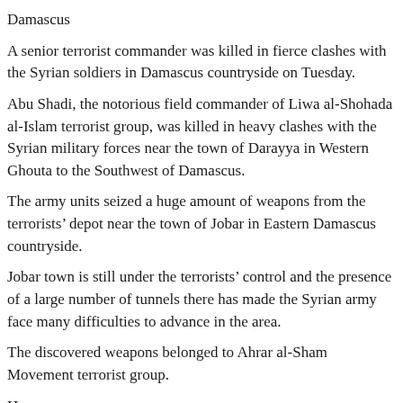Damascus
A senior terrorist commander was killed in fierce clashes with the Syrian soldiers in Damascus countryside on Tuesday.
Abu Shadi, the notorious field commander of Liwa al-Shohada al-Islam terrorist group, was killed in heavy clashes with the Syrian military forces near the town of Darayya in Western Ghouta to the Southwest of Damascus.
The army units seized a huge amount of weapons from the terrorists' depot near the town of Jobar in Eastern Damascus countryside.
Jobar town is still under the terrorists' control and the presence of a large number of tunnels there has made the Syrian army face many difficulties to advance in the area.
The discovered weapons belonged to Ahrar al-Sham Movement terrorist group.
Homs